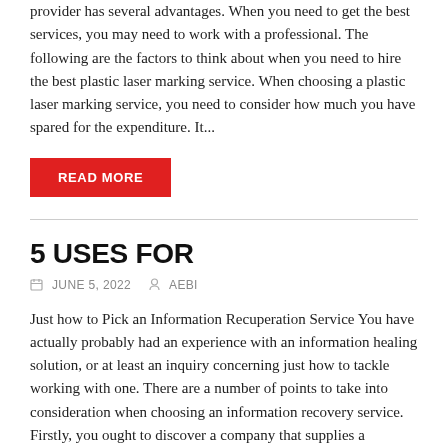provider has several advantages. When you need to get the best services, you may need to work with a professional. The following are the factors to think about when you need to hire the best plastic laser marking service. When choosing a plastic laser marking service, you need to consider how much you have spared for the expenditure. It...
READ MORE
5 USES FOR
JUNE 5, 2022   AEBI
Just how to Pick an Information Recuperation Service You have actually probably had an experience with an information healing solution, or at least an inquiry concerning just how to tackle working with one. There are a number of points to take into consideration when choosing an information recovery service. Firstly, you ought to discover a company that supplies a nationwide solution and also has a high degree of know-how in